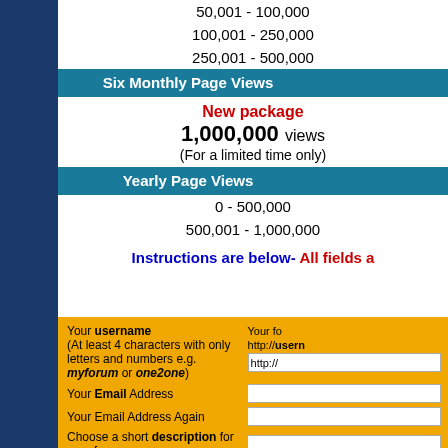50,001 - 100,000
100,001 - 250,000
250,001 - 500,000
Six Monthly Page Views
New package
1,000,000 views
(For a limited time only)
Yearly Page Views
0 - 500,000
500,001 - 1,000,000
Instructions are below- All fields a
Your username (At least 4 characters with only letters and numbers e.g. myforum or one2one)
Your forum http://usern http://
Your Email Address
Your Email Address Again
Choose a short description for your forum
Your Website Address (Your forum will link back to your website)
http://